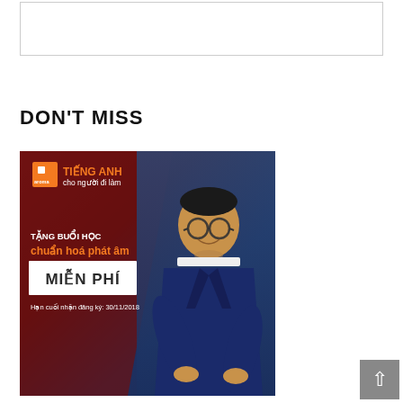[Figure (other): Empty white box with border at top of page]
DON'T MISS
[Figure (illustration): Advertisement banner for Aroma English language school showing a smiling man in a suit with text in Vietnamese: TIẾNG ANH cho người đi làm, TẶNG BUỔI HỌC chuẩn hoá phát âm MIỄN PHÍ. Hạn cuối nhận đăng ký: 30/11/2018]